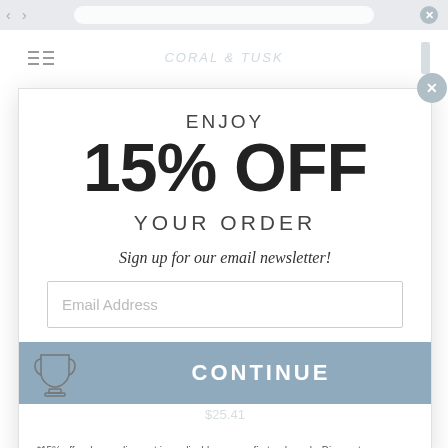ENJOY
15% OFF
YOUR ORDER
Sign up for our email newsletter!
Email Address
CONTINUE
*15% off welcome discount is applicable on your first order only. Discount